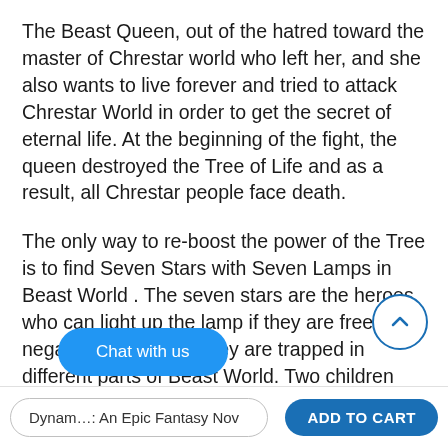The Beast Queen, out of the hatred toward the master of Chrestar world who left her, and she also wants to live forever and tried to attack Chrestar World in order to get the secret of eternal life.  At the beginning of the fight, the queen destroyed the Tree of Life and as a result, all Chrestar people face death.
The only way to re-boost the power of the Tree is to find Seven Stars with Seven Lamps in Beast World . The seven stars are the heroes who can light up the lamp if they are free from negative power, and they are trapped in different parts of Beast World. Two children from Chrestar World, Jac and Candace, and the awakening tree girl are the only ones with enough energy to take up this challenge.
Chat with us
Dynam…: An Epic Fantasy Nov    ADD TO CART